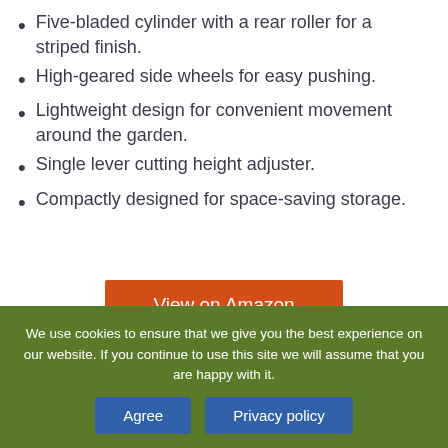Five-bladed cylinder with a rear roller for a striped finish.
High-geared side wheels for easy pushing.
Lightweight design for convenient movement around the garden.
Single lever cutting height adjuster.
Compactly designed for space-saving storage.
View on Amazon
We use cookies to ensure that we give you the best experience on our website. If you continue to use this site we will assume that you are happy with it.
Agree
Privacy policy